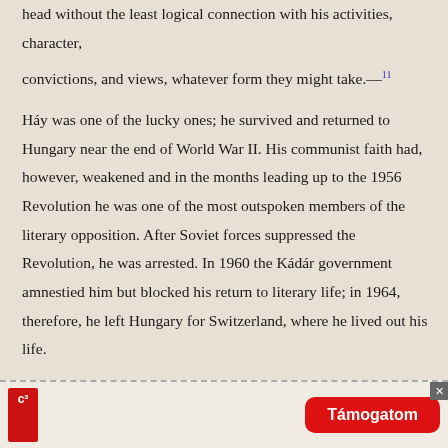head without the least logical connection with his activities, character,
convictions, and views, whatever form they might take.—[11]
Háy was one of the lucky ones; he survived and returned to Hungary near the end of World War II. His communist faith had, however, weakened and in the months leading up to the 1956 Revolution he was one of the most outspoken members of the literary opposition. After Soviet forces suppressed the Revolution, he was arrested. In 1960 the Kádár government amnestied him but blocked his return to literary life; in 1964, therefore, he left Hungary for Switzerland, where he lived out his life.